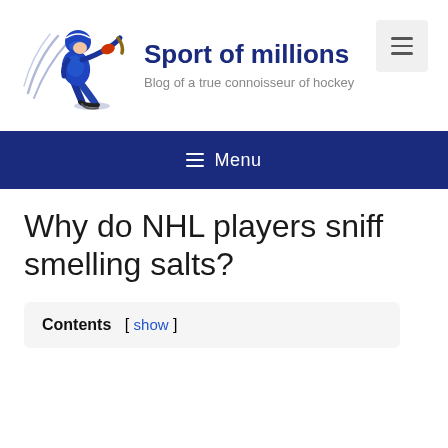[Figure (logo): Hockey player illustration with motion lines, player in blue uniform skating and holding stick]
Sport of millions
Blog of a true connoisseur of hockey
[Figure (other): Hamburger menu toggle button (three horizontal lines icon) on light gray background]
≡ Menu
Why do NHL players sniff smelling salts?
Contents [ show ]